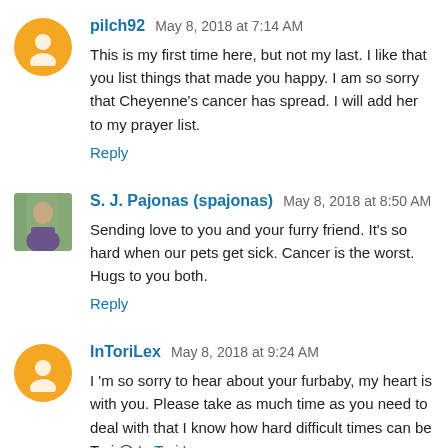pilch92 May 8, 2018 at 7:14 AM
This is my first time here, but not my last. I like that you list things that made you happy. I am so sorry that Cheyenne's cancer has spread. I will add her to my prayer list.
Reply
S. J. Pajonas (spajonas) May 8, 2018 at 8:50 AM
Sending love to you and your furry friend. It's so hard when our pets get sick. Cancer is the worst. Hugs to you both.
Reply
InToriLex May 8, 2018 at 9:24 AM
I 'm so sorry to hear about your furbaby, my heart is with you. Please take as much time as you need to deal with that I know how hard difficult times can be
Tori @ In Tori Lex